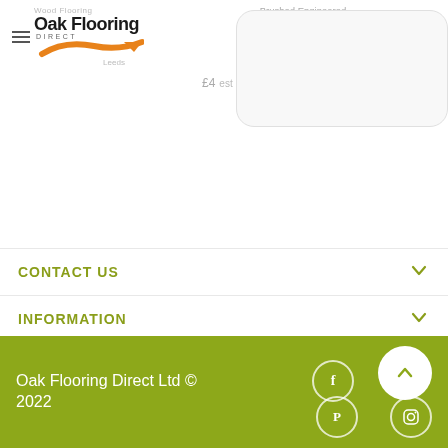[Figure (logo): Oak Flooring Direct logo with orange swoosh and text]
Brushed Engineered Wood Flooring
CONTACT US
INFORMATION
EXTRAS
OUR TWITTER FEED
Oak Flooring Direct Ltd © 2022